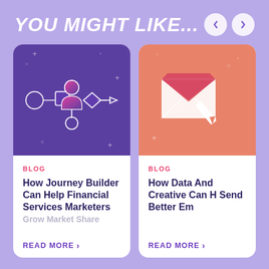YOU MIGHT LIKE...
[Figure (illustration): Navigation back arrow button (circular white button with left chevron)]
[Figure (illustration): Navigation forward arrow button (circular white button with right chevron)]
[Figure (illustration): Purple card image showing a workflow/journey builder diagram with a person icon connected to shapes (circle, square, diamond) via lines, on a dark purple background with decorative plus signs and circles]
BLOG
How Journey Builder Can Help Financial Services Marketers
Grow Market Share
READ MORE >
[Figure (illustration): Peach/orange card image showing an email envelope with a pencil/pen icon, on a peach background with decorative plus signs and circles]
BLOG
How Data And Creative Can H Send Better Em
READ MORE >